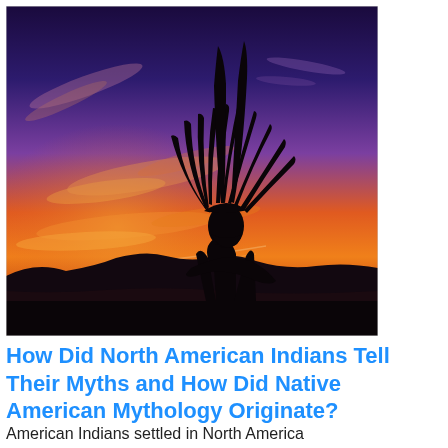[Figure (photo): Silhouette of a Native American person wearing a traditional feathered headdress, photographed against a dramatic twilight sky with orange, pink, purple and blue tones, with dark mountain silhouettes along the horizon.]
How Did North American Indians Tell Their Myths and How Did Native American Mythology Originate?
American Indians settled in North America more than 30,000 years ago, from several waves of migration from Asia, through what is now Alaska...